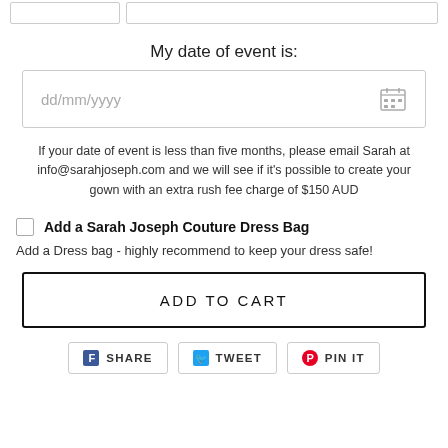My date of event is:
[Figure (screenshot): Date input field with dd/mm/yyyy placeholder and calendar icon]
If your date of event is less than five months, please email Sarah at info@sarahjoseph.com and we will see if it's possible to create your gown with an extra rush fee charge of $150 AUD
Add a Sarah Joseph Couture Dress Bag
Add a Dress bag - highly recommend to keep your dress safe!
[Figure (screenshot): ADD TO CART button]
[Figure (screenshot): Share buttons: SHARE, TWEET, PIN IT]